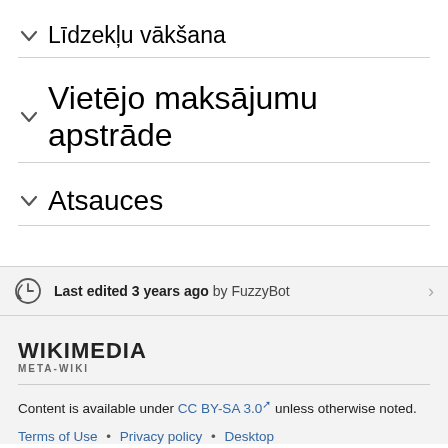✓ Līdzekļu vākšana
✓ Vietējo maksājumu apstrāde
✓ Atsauces
Last edited 3 years ago by FuzzyBot
[Figure (logo): Wikimedia Meta-Wiki logo]
Content is available under CC BY-SA 3.0 unless otherwise noted.
Terms of Use • Privacy policy • Desktop